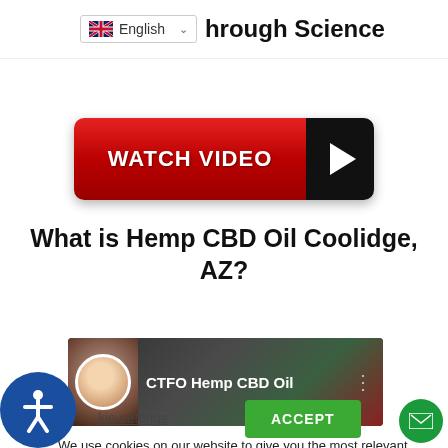English | hrough Science
[Figure (infographic): Red WATCH VIDEO button with play triangle icon on black right panel]
What is Hemp CBD Oil Coolidge, AZ?
[Figure (screenshot): Video thumbnail showing CTFO Hemp CBD Oil with avatar and background]
We use cookies on our website to give you the most relevant experience by remembering your preferences and repeat visits. By clicking “Accept”, you consent to the use of ALL the cookies.